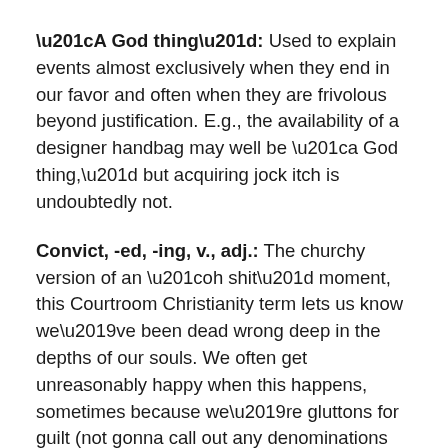“A God thing”: Used to explain events almost exclusively when they end in our favor and often when they are frivolous beyond justification. E.g., the availability of a designer handbag may well be “a God thing,” but acquiring jock itch is undoubtedly not.
Convict, -ed, -ing, v., adj.: The churchy version of an “oh shit” moment, this Courtroom Christianity term lets us know we’ve been dead wrong deep in the depths of our souls. We often get unreasonably happy when this happens, sometimes because we’re gluttons for guilt (not gonna call out any denominations here– you know who you are), but usually because it means our sleepy little hearts are finally snapping to attention.
Disciple, v.: Just when you thought “disciple” was a guy in sandals catching fish (Or is that “apostle?” You can never